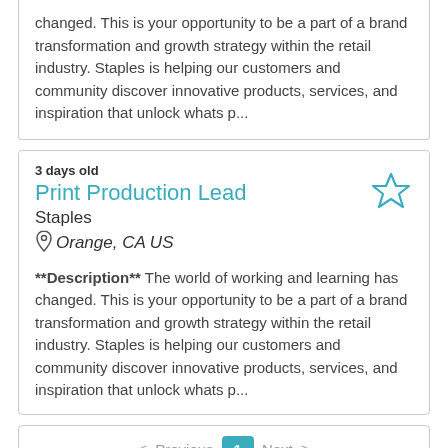changed. This is your opportunity to be a part of a brand transformation and growth strategy within the retail industry. Staples is helping our customers and community discover innovative products, services, and inspiration that unlock whats p...
3 days old
Print Production Lead
Staples
Orange, CA US
**Description** The world of working and learning has changed. This is your opportunity to be a part of a brand transformation and growth strategy within the retail industry. Staples is helping our customers and community discover innovative products, services, and inspiration that unlock whats p...
< Previous  1  Next >